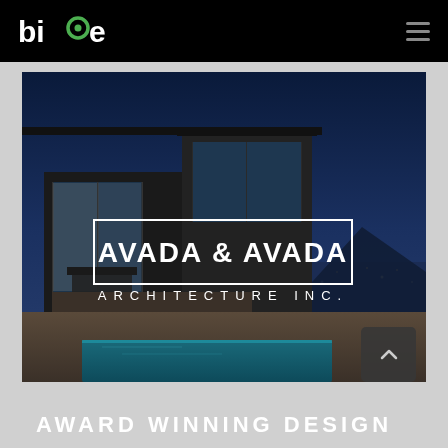[Figure (logo): bioe logo in white and green on black navbar]
[Figure (photo): Night architectural photo of modern house with pool, overlaid with 'AVADA & AVADA ARCHITECTURE INC.' text in white with border box, and 'AWARD WINNING DESIGN' teal strip at bottom]